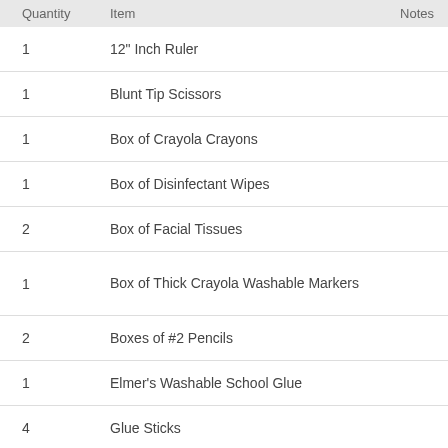| Quantity | Item | Notes |
| --- | --- | --- |
| 1 | 12" Inch Ruler |  |
| 1 | Blunt Tip Scissors |  |
| 1 | Box of Crayola Crayons |  |
| 1 | Box of Disinfectant Wipes |  |
| 2 | Box of Facial Tissues |  |
| 1 | Box of Thick Crayola Washable Markers |  |
| 2 | Boxes of #2 Pencils |  |
| 1 | Elmer's Washable School Glue |  |
| 4 | Glue Sticks |  |
| 2 | Highlighters |  |